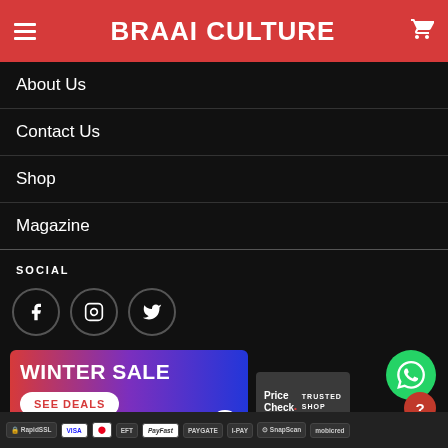BRAAI CULTURE
About Us
Contact Us
Shop
Magazine
SOCIAL
[Figure (illustration): Social media icons: Facebook, Instagram, Twitter in circular bordered buttons]
[Figure (infographic): Winter Sale banner with gradient background (red to purple to blue), text WINTER SALE and SEE DEALS button, close X button]
[Figure (logo): PriceCheck Trusted Shop badge]
[Figure (logo): WhatsApp green circle icon]
[Figure (infographic): Payment method badges: RapidSSL, VISA, Mastercard, EFT, PayFast, PAYGATE, I-PAY, SnapScan, Mobicred]